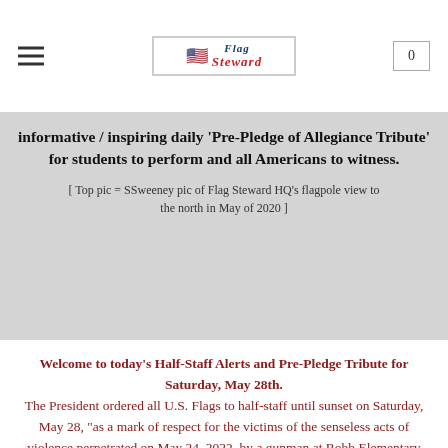Flag Steward | 0
informative / inspiring daily 'Pre-Pledge of Allegiance Tribute' for students to perform and all Americans to witness.
[ Top pic = SSweeney pic of Flag Steward HQ's flagpole view to the north in May of 2020 ]
Welcome to today's Half-Staff Alerts and Pre-Pledge Tribute for Saturday, May 28th. The President ordered all U.S. Flags to half-staff until sunset on Saturday, May 28, "as a mark of respect for the victims of the senseless acts of violence perpetrated on May 24, 2022, by a gunman at Robb Elementary School in Uvalde, Texas."